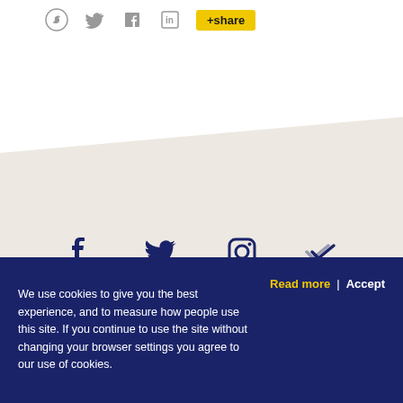[Figure (infographic): Social sharing icons: WhatsApp, Twitter, Facebook, LinkedIn and a yellow +share button]
[Figure (infographic): Social media icons on beige diagonal band: Facebook, Twitter, Instagram, and a checkmark/custom app icon, all in dark navy color]
[Figure (logo): dubai.ae logo in light gray and a QR code with Arabic text below it]
We use cookies to give you the best experience, and to measure how people use this site. If you continue to use the site without changing your browser settings you agree to our use of cookies.
Read more | Accept